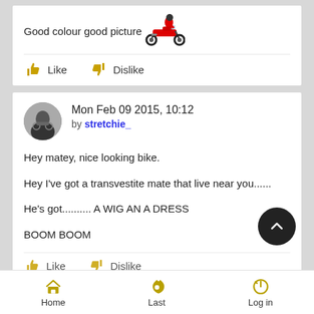Good colour good picture 🏍️
Like  Dislike
Mon Feb 09 2015, 10:12
by stretchie_
Hey matey, nice looking bike.

Hey I've got a transvestite mate that live near you......

He's got.......... A WIG AN A DRESS


BOOM BOOM
Like  Dislike
Home  Last  Log in